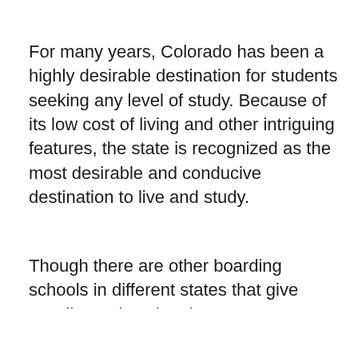For many years, Colorado has been a highly desirable destination for students seeking any level of study. Because of its low cost of living and other intriguing features, the state is recognized as the most desirable and conducive destination to live and study.
Though there are other boarding schools in different states that give excellent educational